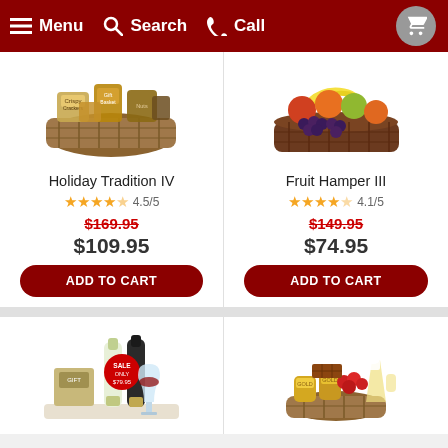Menu  Search  Call
[Figure (photo): Gift basket with snacks and treats - Holiday Tradition IV]
[Figure (photo): Fruit hamper basket with assorted fruits - Fruit Hamper III]
Holiday Tradition IV
4.5/5
$169.95 (original price, strikethrough)
$109.95
ADD TO CART
Fruit Hamper III
4.1/5
$149.95 (original price, strikethrough)
$74.95
ADD TO CART
[Figure (photo): Wine and chocolate gift basket with sale tag showing $79.95]
[Figure (photo): Beer and snacks gift basket]